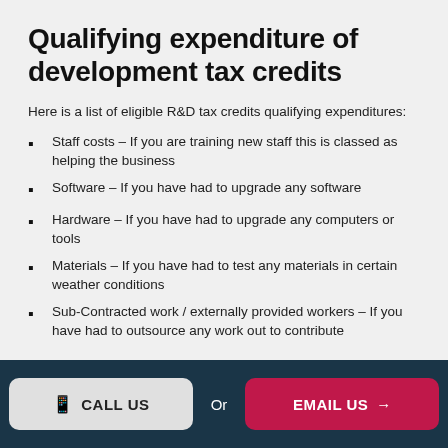Qualifying expenditure of development tax credits
Here is a list of eligible R&D tax credits qualifying expenditures:
Staff costs – If you are training new staff this is classed as helping the business
Software – If you have had to upgrade any software
Hardware – If you have had to upgrade any computers or tools
Materials – If you have had to test any materials in certain weather conditions
Sub-Contracted work / externally provided workers – If you have had to outsource any work out to contribute
CALL US  Or  EMAIL US →